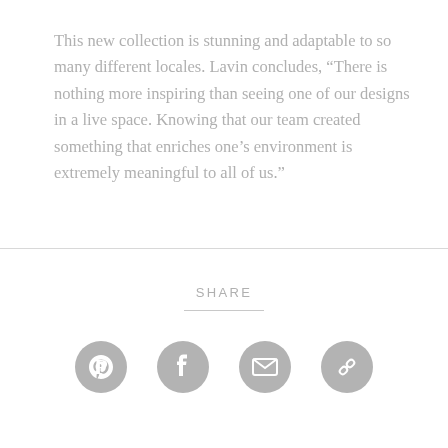This new collection is stunning and adaptable to so many different locales. Lavin concludes, “There is nothing more inspiring than seeing one of our designs in a live space. Knowing that our team created something that enriches one’s environment is extremely meaningful to all of us.”
SHARE
[Figure (infographic): Four circular social share icons: Pinterest, Facebook, Email, and Link/Copy, all in grey]